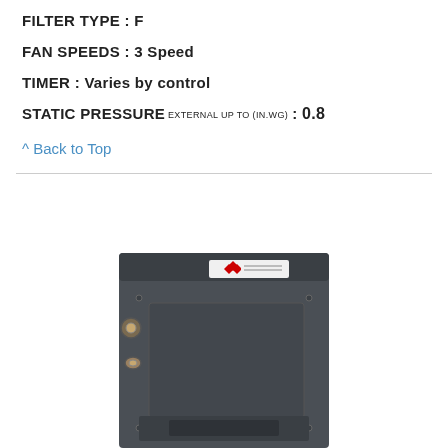FILTER TYPE : F
FAN SPEEDS : 3 Speed
TIMER : Varies by control
STATIC PRESSURE EXTERNAL UP TO (IN.WG) : 0.8
^ Back to Top
[Figure (photo): Photograph of a dark grey Mitsubishi Electric vertical air handling unit / fan coil unit, showing the rear/side panel with copper pipe connections and brand label.]